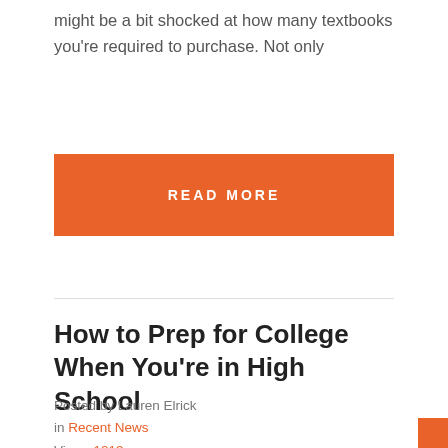might be a bit shocked at how many textbooks you're required to purchase. Not only
[Figure (other): Orange READ MORE button]
How to Prep for College When You're in High School
Posted by Lauren Elrick
in Recent News
Views 1213
Chances are good that if you're a high school student, you've probably already been approached by your parents, teachers,